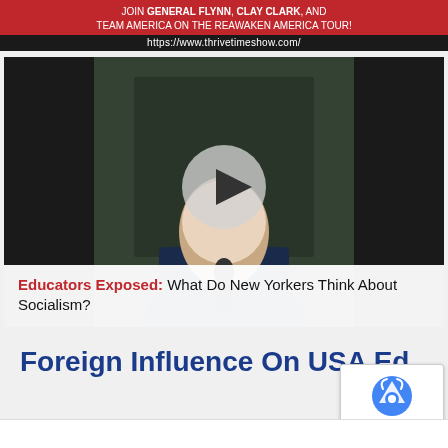JOIN GENERAL FLYNN, CLAY CLARK, AND TEAM AMERICA ON THE REAWAKEN AMERICA TOUR!
https://www.thrivetimeshow.com/
[Figure (screenshot): Video thumbnail showing a man being interviewed outdoors with a play button overlay. Caption text reads: 'Educators Exposed: What Do New Yorkers Think About Socialism?']
Foreign Influence On USA Ed